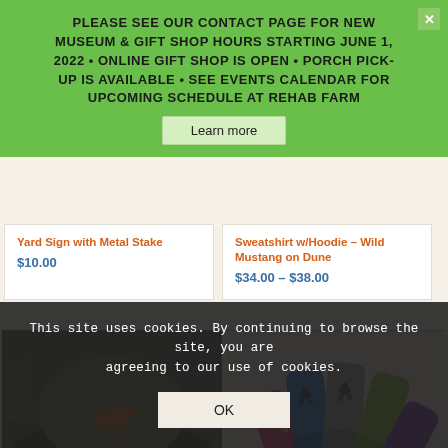PLEASE SEE OUR CONTACT PAGE FOR NEW MUSEUM & GIFT SHOP HOURS STARTING JUNE 1, 2022 • ONLINE GIFT SHOP IS OPEN • PORCH PICK-UP IS AVAILABLE • SEE EVENTS CALENDAR FOR UPCOMING SCHEDULE AT REHAB FARM
Learn more
Yard Sign with Metal Stake
$10.00
Sweatshirt w/Hoodie – Wild Mustang on Dune
$34.00 – $38.00
[Figure (photo): Photo of a hat with a horse rider embroidery and text 'Chincoteague Pony Farm']
[Figure (photo): Photo of colorful horse-themed socks in pink, blue, gray, green, and purple]
This site uses cookies. By continuing to browse the site, you are agreeing to our use of cookies.
OK